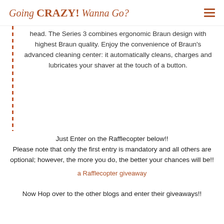Going CRAZY! Wanna Go?
head. The Series 3 combines ergonomic Braun design with highest Braun quality. Enjoy the convenience of Braun's advanced cleaning center: it automatically cleans, charges and lubricates your shaver at the touch of a button.
Just Enter on the Rafflecopter below!! Please note that only the first entry is mandatory and all others are optional; however, the more you do, the better your chances will be!!
a Rafflecopter giveaway
Now Hop over to the other blogs and enter their giveaways!!